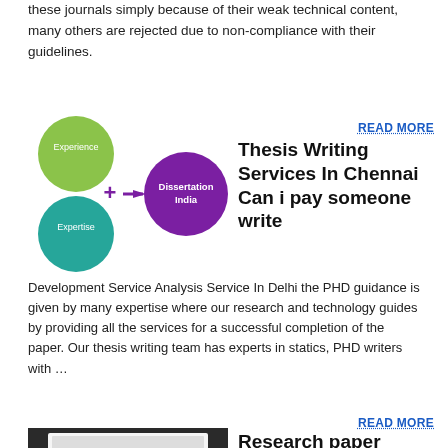these journals simply because of their weak technical content, many others are rejected due to non-compliance with their guidelines.
READ MORE
[Figure (infographic): Dissertation India infographic showing Experience circle (green, top-left), Expertise circle (teal, bottom-left), a plus symbol and arrow in purple, leading to a large purple circle labeled Dissertation India]
Thesis Writing Services In Chennai Can i pay someone write
Development Service Analysis Service In Delhi the PHD guidance is given by many expertise where our research and technology guides by providing all the services for a successful completion of the paper. Our thesis writing team has experts in statics, PHD writers with …
READ MORE
[Figure (photo): Photo of hands typing on a laptop keyboard]
Research paper writing